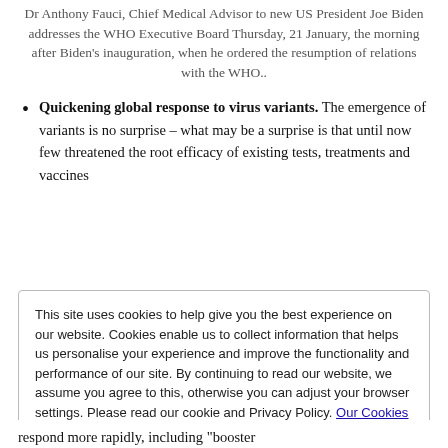Dr Anthony Fauci, Chief Medical Advisor to new US President Joe Biden addresses the WHO Executive Board Thursday, 21 January, the morning after Biden's inauguration, when he ordered the resumption of relations with the WHO..
Quickening global response to virus variants. The emergence of variants is no surprise – what may be a surprise is that until now few threatened the root efficacy of existing tests, treatments and vaccines
This site uses cookies to help give you the best experience on our website. Cookies enable us to collect information that helps us personalise your experience and improve the functionality and performance of our site. By continuing to read our website, we assume you agree to this, otherwise you can adjust your browser settings. Please read our cookie and Privacy Policy. Our Cookies and Privacy Policy
respond more rapidly, including "booster